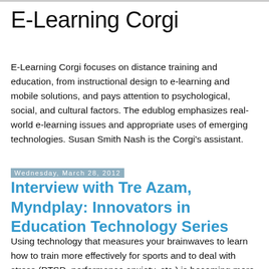E-Learning Corgi
E-Learning Corgi focuses on distance training and education, from instructional design to e-learning and mobile solutions, and pays attention to psychological, social, and cultural factors. The edublog emphasizes real-world e-learning issues and appropriate uses of emerging technologies. Susan Smith Nash is the Corgi's assistant.
Wednesday, March 28, 2012
Interview with Tre Azam, Myndplay: Innovators in Education Technology Series
Using technology that measures your brainwaves to learn how to train more effectively for sports and to deal with stress (PTSD, performance anxiety, etc.) is becoming more affordable, easy-to-use, and accessible. Welcome to an